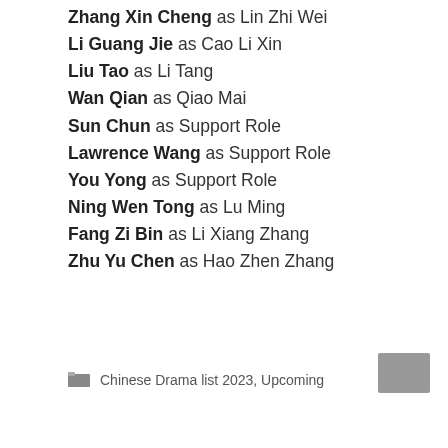Zhang Xin Cheng as Lin Zhi Wei
Li Guang Jie as Cao Li Xin
Liu Tao as Li Tang
Wan Qian as Qiao Mai
Sun Chun as Support Role
Lawrence Wang as Support Role
You Yong as Support Role
Ning Wen Tong as Lu Ming
Fang Zi Bin as Li Xiang Zhang
Zhu Yu Chen as Hao Zhen Zhang
Chinese Drama list 2023, Upcoming